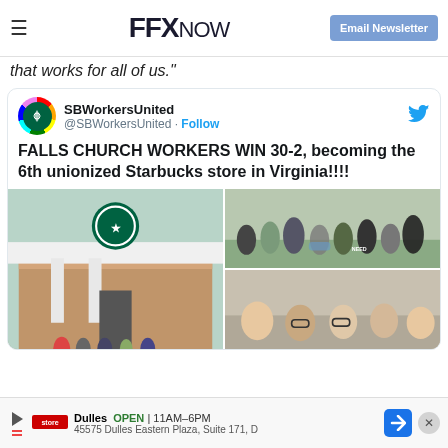FFX NOW | Email Newsletter
that works for all of us."
[Figure (screenshot): Embedded tweet from @SBWorkersUnited with text: FALLS CHURCH WORKERS WIN 30-2, becoming the 6th unionized Starbucks store in Virginia!!!! with photos of a Starbucks store and celebrating workers]
Dulles OPEN 11AM-6PM 45575 Dulles Eastern Plaza, Suite 171, D